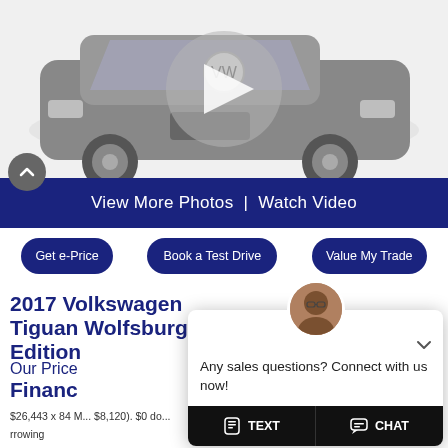[Figure (photo): Silver Volkswagen Tiguan SUV front three-quarter view with a semi-transparent play button overlay, indicating a video is available]
View More Photos  |  Watch Video
Get e-Price
Book a Test Drive
Value My Trade
2017 Volkswagen Tiguan Wolfsburg Edition
Our Price
Finance
$26,443 x 84 M... $8,120). $0 do... rrowing Plus Taxes and...
[Figure (screenshot): Chat popup overlay with agent avatar photo, message 'Any sales questions? Connect with us now!' and two buttons: TEXT and CHAT]